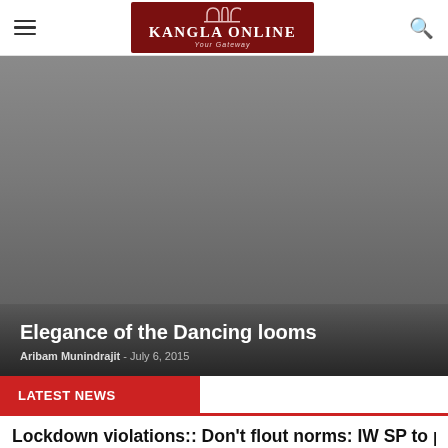Kangla Online – Your Gateway
[Figure (photo): Dark grey hero image with overlay text showing article 'Elegance of the Dancing looms' by Aribam Munindrajit, July 6, 2015]
Elegance of the Dancing looms
Aribam Munindrajit – July 6, 2015
LATEST NEWS
Lockdown violations:: Don't flout norms: IW SP to public
KanglaOnline – May 8, 2020